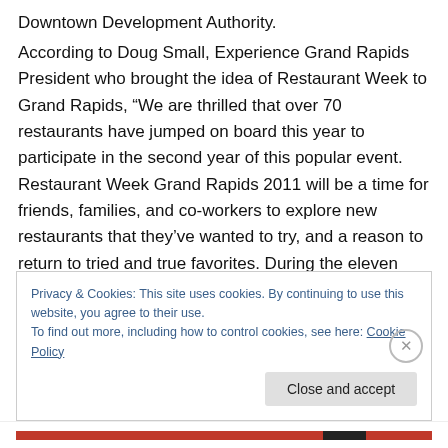Downtown Development Authority.
According to Doug Small, Experience Grand Rapids President who brought the idea of Restaurant Week to Grand Rapids, “We are thrilled that over 70 restaurants have jumped on board this year to participate in the second year of this popular event. Restaurant Week Grand Rapids 2011 will be a time for friends, families, and co-workers to explore new restaurants that they’ve wanted to try, and a reason to return to tried and true favorites. During the eleven days of Restaurant Week, all of the
Privacy & Cookies: This site uses cookies. By continuing to use this website, you agree to their use.
To find out more, including how to control cookies, see here: Cookie Policy
Close and accept